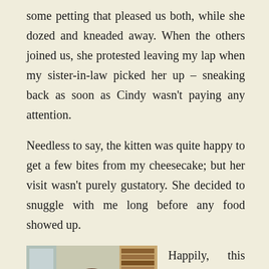some petting that pleased us both, while she dozed and kneaded away. When the others joined us, she protested leaving my lap when my sister-in-law picked her up – sneaking back as soon as Cindy wasn't paying any attention.
Needless to say, the kitten was quite happy to get a few bites from my cheesecake; but her visit wasn't purely gustatory. She decided to snuggle with me long before any food showed up.
[Figure (photo): A woman wearing glasses and a red and white jacket, sitting indoors with bookshelves and plants in the background.]
Happily, this little guy was